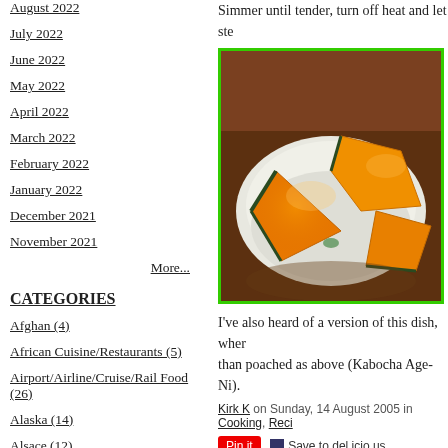August 2022
July 2022
June 2022
May 2022
April 2022
March 2022
February 2022
January 2022
December 2021
November 2021
More...
CATEGORIES
Afghan (4)
African Cuisine/Restaurants (5)
Airport/Airline/Cruise/Rail Food (26)
Alaska (14)
Alsace (12)
Simmer until tender, turn off heat and let ste
[Figure (photo): Photo of cooked kabocha squash pieces in a white ceramic dish, showing orange-yellow flesh pieces arranged in the dish]
I've also heard of a version of this dish, wher than poached as above (Kabocha Age-Ni).
Kirk K on Sunday, 14 August 2005 in Cooking, Reci
Comments